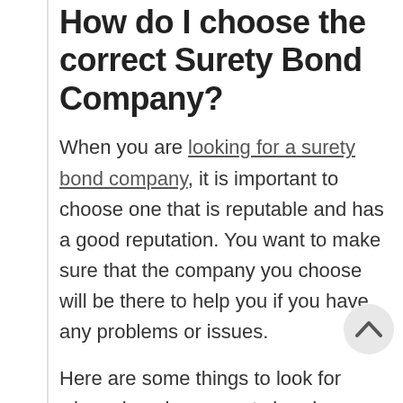How do I choose the correct Surety Bond Company?
When you are looking for a surety bond company, it is important to choose one that is reputable and has a good reputation. You want to make sure that the company you choose will be there to help you if you have any problems or issues.
Here are some things to look for when choosing a surety bond company:
-The company's financial stability -You want to make sure that the company is financially stable and will be able to pay out if you have